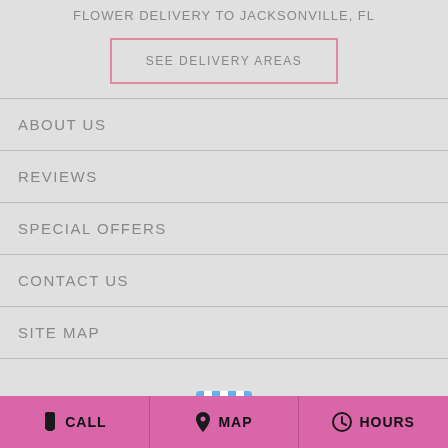FLOWER DELIVERY TO JACKSONVILLE, FL
SEE DELIVERY AREAS
ABOUT US
REVIEWS
SPECIAL OFFERS
CONTACT US
SITE MAP
[Figure (logo): Google My Business storefront icon — blue and white awning with a 'G' logo badge]
CALL   MAP   HOURS